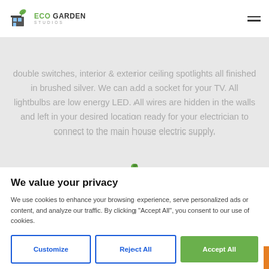ECO GARDEN STUDIOS
double switches, interior & exterior ceiling spotlights all finished in brushed silver. We can add a socket for your TV. All lightbulbs are low energy LED. All wires are hidden in the walls and left in your desired location ready for your electrician to connect to the main house electric supply.
We value your privacy
We use cookies to enhance your browsing experience, serve personalized ads or content, and analyze our traffic. By clicking "Accept All", you consent to our use of cookies.